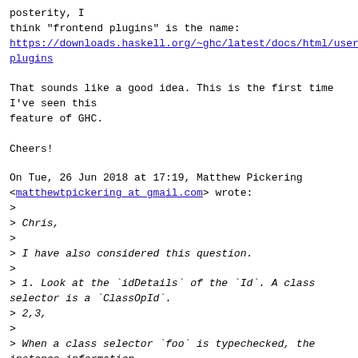posterity, I
think "frontend plugins" is the name:
https://downloads.haskell.org/~ghc/latest/docs/html/users/plugins

That sounds like a good idea. This is the first time
I've seen this
feature of GHC.

Cheers!
On Tue, 26 Jun 2018 at 17:19, Matthew Pickering
<matthewtpickering at gmail.com> wrote:
>
> Chris,
>
> I have also considered this question.
>
> 1. Look at the `idDetails` of the `Id`. A class selector is a `ClassOpId`.
> 2,3,
>
> When a class selector `foo` is typechecked, the instance information
> is of course resolved. The selector `foo` is then wrapped in a
> `HsWrapper` which when desugared will apply the type arguments and